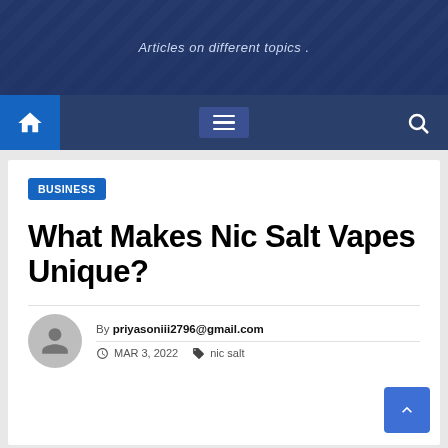Articles on different topics .
BUSINESS
What Makes Nic Salt Vapes Unique?
By priyasoniii2796@gmail.com
MAR 3, 2022   nic salt